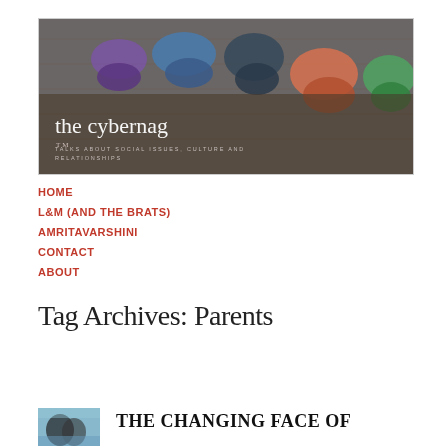[Figure (photo): Blog header image showing people huddled over from above, dark wood floor background, with blog name 'the cybernag' and tagline 'TALKS ABOUT SOCIAL ISSUES, CULTURE AND RELATIONSHIPS' overlaid in white text]
HOME
L&M (AND THE BRATS)
AMRITAVARSHINI
CONTACT
ABOUT
Tag Archives: Parents
[Figure (photo): Small thumbnail image with light blue tones, partially visible]
THE CHANGING FACE OF